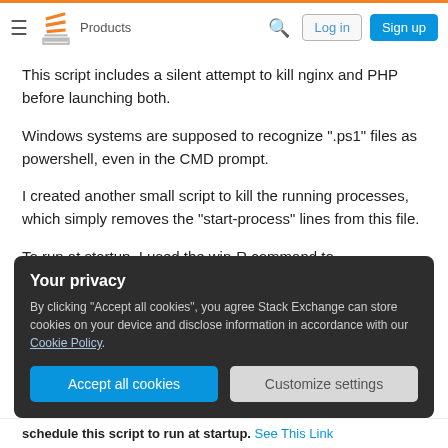≡  [Stack Overflow logo]  Products  🔍  Log in  Sign up
This script includes a silent attempt to kill nginx and PHP before launching both.
Windows systems are supposed to recognize ".ps1" files as powershell, even in the CMD prompt.
I created another small script to kill the running processes, which simply removes the "start-process" lines from this file.
To run at startup, I used the win-R command to
Your privacy
By clicking "Accept all cookies", you agree Stack Exchange can store cookies on your device and disclose information in accordance with our Cookie Policy.
Accept all cookies   Customize settings
schedule this script to run at startup. See This Link